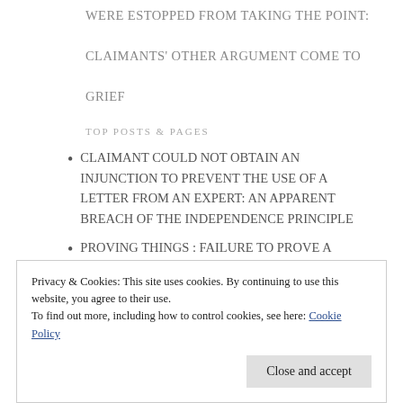WERE ESTOPPED FROM TAKING THE POINT: CLAIMANTS' OTHER ARGUMENT COME TO GRIEF
TOP POSTS & PAGES
CLAIMANT COULD NOT OBTAIN AN INJUNCTION TO PREVENT THE USE OF A LETTER FROM AN EXPERT: AN APPARENT BREACH OF THE INDEPENDENCE PRINCIPLE
PROVING THINGS : FAILURE TO PROVE A NUISANCE: NO LOSS OF INCOME WHEN
Privacy & Cookies: This site uses cookies. By continuing to use this website, you agree to their use.
To find out more, including how to control cookies, see here: Cookie Policy
Close and accept